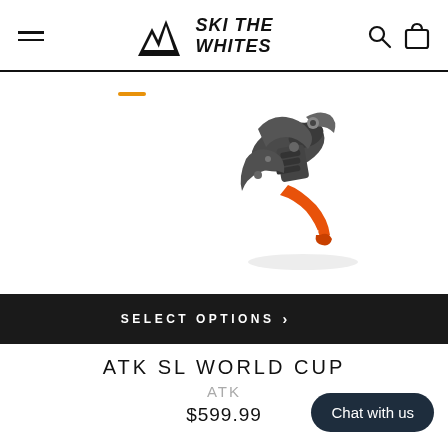SKI THE WHITES
[Figure (photo): ATK SL World Cup ski touring binding, a mechanical binding device with dark grey metal body and bright orange lever/toe piece element, photographed on white background.]
SELECT OPTIONS >
ATK SL WORLD CUP
ATK
$599.99
Chat with us